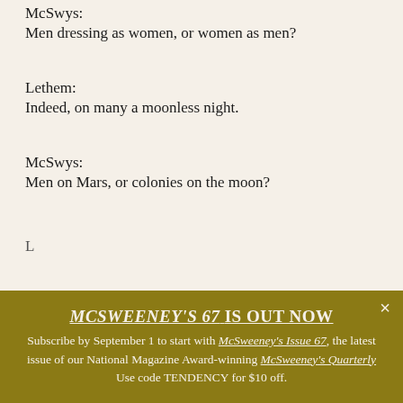McSwys:
Men dressing as women, or women as men?
Lethem:
Indeed, on many a moonless night.
McSwys:
Men on Mars, or colonies on the moon?
L
MCSWEENEY'S 67 IS OUT NOW
Subscribe by September 1 to start with McSweeney's Issue 67, the latest issue of our National Magazine Award-winning McSweeney's Quarterly Use code TENDENCY for $10 off.